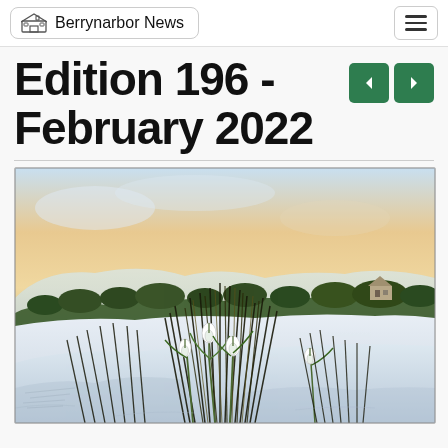Berrynarbor News
Edition 196 - February 2022
[Figure (illustration): Watercolor and ink illustration of snowdrop flowers in a winter countryside landscape with snowy fields, hedgerows, and a farmhouse in the background under a warm sunset sky]